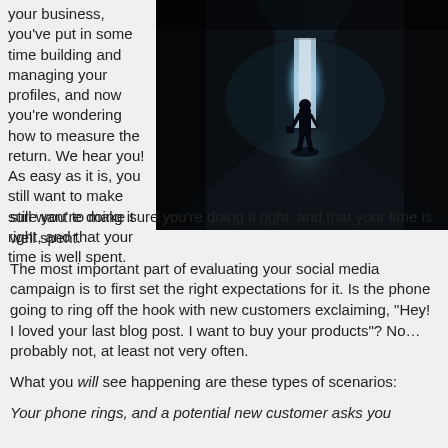your business, you've put in some time building and managing your profiles, and now you're wondering how to measure the return. We hear you! As easy as it is, you still want to make sure you're doing it right, and that your time is well spent.
[Figure (photo): A silhouette of a person standing in a dark corridor or room with a bright white light coming through a slightly open door ahead of them, creating a dramatic contrast between dark and light.]
The most important part of evaluating your social media campaign is to first set the right expectations for it. Is the phone going to ring off the hook with new customers exclaiming, “Hey! I loved your last blog post. I want to buy your products”? No… probably not, at least not very often.
What you will see happening are these types of scenarios:
Your phone rings, and a potential new customer asks you